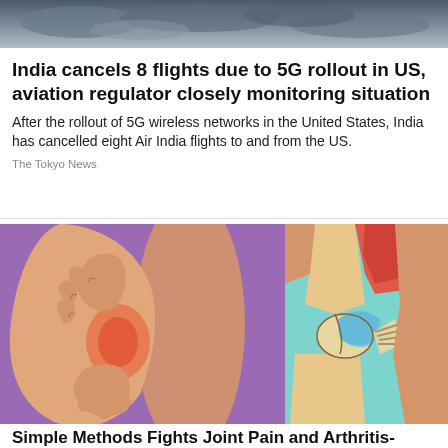[Figure (photo): Top banner photo of cloudy sky, dark and gray tones]
India cancels 8 flights due to 5G rollout in US, aviation regulator closely monitoring situation
After the rollout of 5G wireless networks in the United States, India has cancelled eight Air India flights to and from the US.
The Tokyo News
[Figure (illustration): Two medical illustrations side by side: left shows hands gripping a knee with redness indicating pain on purple background; right shows anatomical cross-section of knee joint with blue cartilage, tendons and muscles on teal background]
Simple Methods Fights Joint Pain and Arthritis-